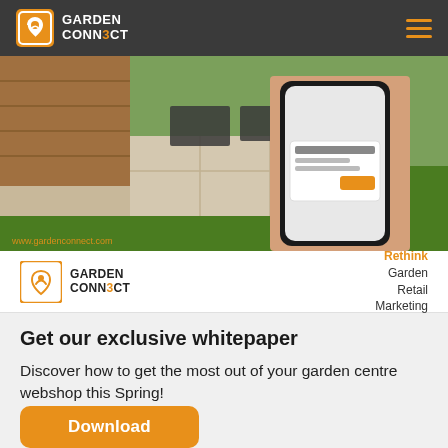Garden Connect
[Figure (photo): A hand holding a smartphone displaying a garden centre webshop app, with a patio garden scene visible in the background. The phone screen shows a product listing interface. The image has a Garden Connect logo watermark and the text 'Rethink Garden Retail Marketing' in the bottom right, along with the Garden Connect logo on the bottom left.]
Get our exclusive whitepaper
Discover how to get the most out of your garden centre webshop this Spring!
Download